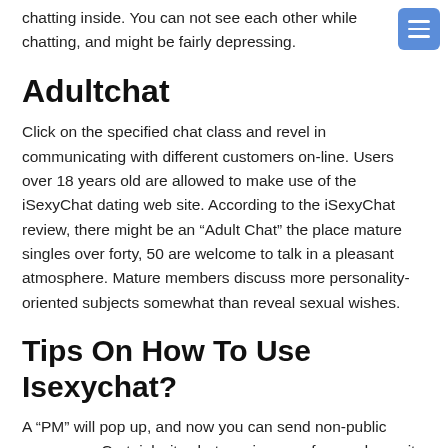chatting inside. You can not see each other while chatting, and might be fairly depressing.
Adultchat
Click on the specified chat class and revel in communicating with different customers on-line. Users over 18 years old are allowed to make use of the iSexyChat dating web site. According to the iSexyChat review, there might be an “Adult Chat” the place mature singles over forty, 50 are welcome to talk in a pleasant atmosphere. Mature members discuss more personality-oriented subjects somewhat than reveal sexual wishes.
Tips On How To Use Isexychat?
A “PM” will pop up, and now you can send non-public messages. Certainly, its chat services are free and permit no signup process. Also, users can use chatrooms without exchanging any private particulars as a end result of the website employs confidentiality, and messages are nameless. Clearly, iSexyChat has established a